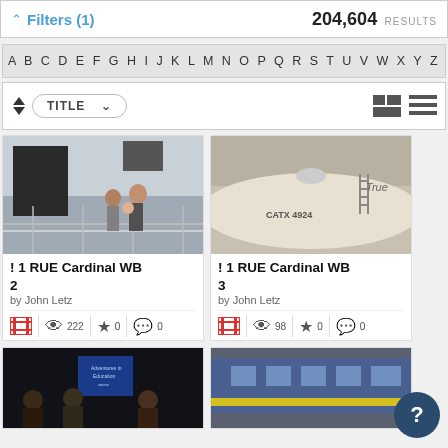Filters (1)   204,604 RESULTS
A B C D E F G H I J K L M N O P Q R S T U V W X Y Z
TITLE
[Figure (screenshot): Card thumbnail: people on a ship deck]
! 1 RUE Cardinal WB 2
by John Letz
222 views, 0 favorites, 0 comments
[Figure (screenshot): Card thumbnail: CATX tank railcar]
! 1 RUE Cardinal WB 3
by John Letz
98 views, 0 favorites, 0 comments
[Figure (screenshot): Card thumbnail: dark scene with blue screen and people]
[Figure (screenshot): Card thumbnail: blue train car with yellow stripe]